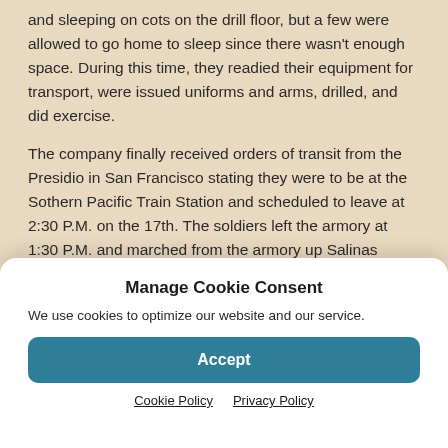and sleeping on cots on the drill floor, but a few were allowed to go home to sleep since there wasn't enough space. During this time, they readied their equipment for transport, were issued uniforms and arms, drilled, and did exercise.
The company finally received orders of transit from the Presidio in San Francisco stating they were to be at the Sothern Pacific Train Station and scheduled to leave at 2:30 P.M. on the 17th. The soldiers left the armory at 1:30 P.M. and marched from the armory up Salinas Street to
Manage Cookie Consent
We use cookies to optimize our website and our service.
Accept
Cookie Policy   Privacy Policy